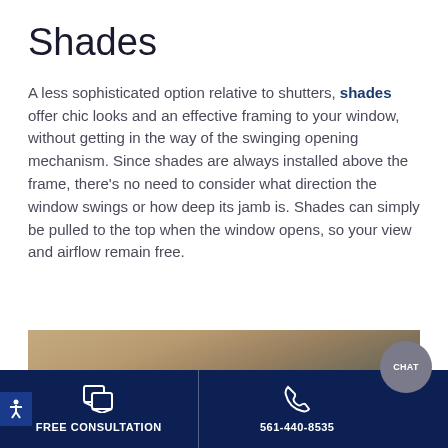Shades
A less sophisticated option relative to shutters, shades offer chic looks and an effective framing to your window, without getting in the way of the swinging opening mechanism. Since shades are always installed above the frame, there's no need to consider what direction the window swings or how deep its jamb is. Shades can simply be pulled to the top when the window opens, so your view and airflow remain free.
[Figure (photo): Partial view of a window with a shade, showing tan/brown wall and window frame area]
FREE CONSULTATION | 561-440-8535 | CHAT